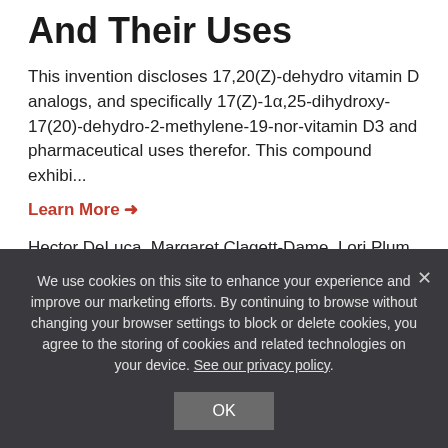And Their Uses
This invention discloses 17,20(Z)-dehydro vitamin D analogs, and specifically 17(Z)-1α,25-dihydroxy-17(20)-dehydro-2-methylene-19-nor-vitamin D3 and pharmaceutical uses therefor. This compound exhibi...
Learn More →
Hector DeLuca, Margaret Clagett-Dame, Lori Plum, Bulli Padmaja Tadi | P06097US
Technology
17,20(e)-dehydro Vitamin D Analogs
We use cookies on this site to enhance your experience and improve our marketing efforts. By continuing to browse without changing your browser settings to block or delete cookies, you agree to the storing of cookies and related technologies on your device. See our privacy policy.
OK